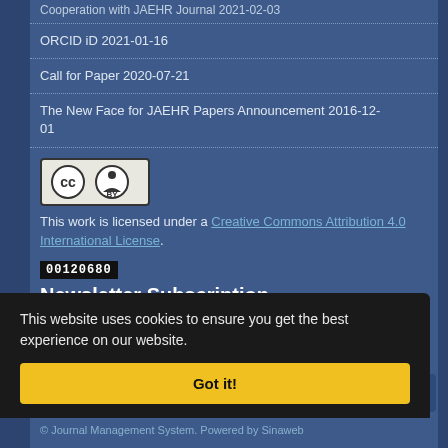Cooperation with JAEHR Journal 2021-02-03
ORCID iD 2021-01-16
Call for Paper 2020-07-21
The New Face for JAEHR Papers Announcement 2016-12-01
[Figure (logo): Creative Commons BY license badge]
This work is licensed under a Creative Commons Attribution 4.0 International License.
00120680
Newsletter Subscription
Subscribe to the journal newsletter and receive the
This website uses cookies to ensure you get the best experience on our website.
Got it!
© Journal Management System. Powered by Sinaweb